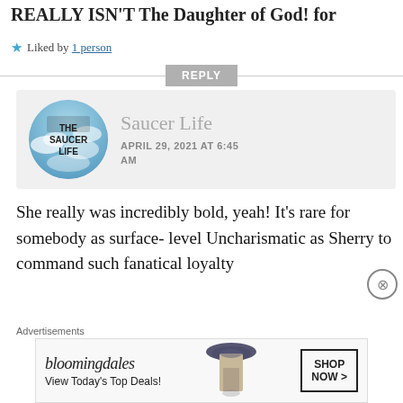REALLY ISN'T The Daughter of God! for
★ Liked by 1 person
REPLY
Saucer Life
APRIL 29, 2021 AT 6:45 AM
She really was incredibly bold, yeah! It's rare for somebody as surface-level Uncharismatic as Sherry to command such fanatical loyalty
[Figure (screenshot): Bloomingdales advertisement banner: logo, 'View Today's Top Deals!', woman with hat, SHOP NOW > button]
Advertisements